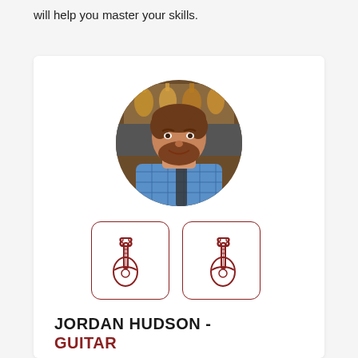will help you master your skills.
[Figure (photo): Circular portrait photo of Jordan Hudson, a bearded man in a blue plaid shirt standing in front of guitars on a wall]
[Figure (illustration): Two guitar icons inside rounded square bordered boxes, dark red/maroon outlines]
JORDAN HUDSON - GUITAR